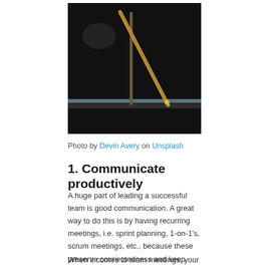[Figure (photo): Dark background photo showing two sticks or pencils crossed, with a glowing/lit tip on one, placed on a textured surface]
Photo by Devin Avery on Unsplash
1. Communicate productively
A huge part of leading a successful team is good communication. A great way to do this is by having recurring meetings, i.e. sprint planning, 1-on-1's, scrum meetings, etc., because these preserve connectedness and keep lines of communication open.
When it comes to team meetings, your main job as a leader is to listen to your team. If you don't listen to